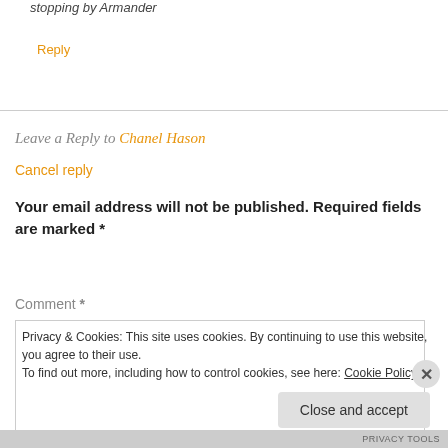stopping by Armander
Reply
Leave a Reply to Chanel Hason
Cancel reply
Your email address will not be published. Required fields are marked *
Comment *
Privacy & Cookies: This site uses cookies. By continuing to use this website, you agree to their use. To find out more, including how to control cookies, see here: Cookie Policy
Close and accept